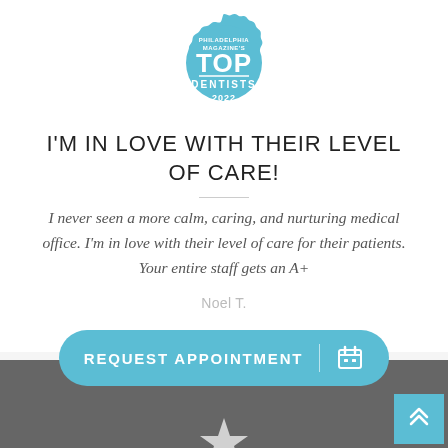[Figure (logo): Philadelphia Magazine's Top Dentists 2022 badge — circular badge with scalloped edge in light blue, white text reading PHILADELPHIA MAGAZINE'S TOP DENTISTS 2022]
I'M IN LOVE WITH THEIR LEVEL OF CARE!
I never seen a more calm, caring, and nurturing medical office. I'm in love with their level of care for their patients. Your entire staff gets an A+
Noel T.
[Figure (other): REQUEST APPOINTMENT button — rounded pill-shaped button in teal/light blue with white uppercase text and calendar icon]
[Figure (photo): Dark gray background section at bottom of page with partial white star/logo visible at bottom center, and a teal scroll-to-top button with double chevron up arrow at bottom right]